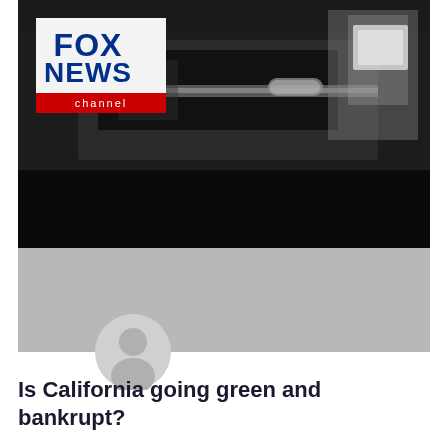[Figure (screenshot): Fox News channel video thumbnail showing cars near a charging station or dealership, with Fox News channel logo in top-left corner]
[Figure (photo): Gray placeholder/blurred card area with a user avatar icon overlay at the bottom]
Is California going green and bankrupt?